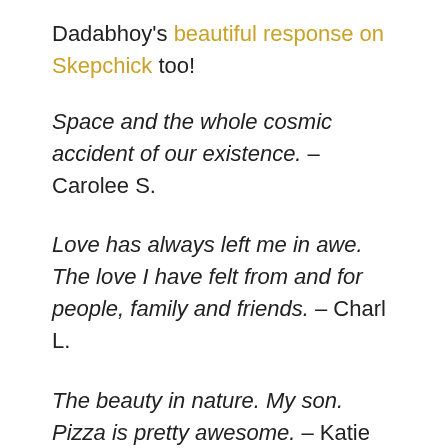Dadabhoy's beautiful response on Skepchick too!
Space and the whole cosmic accident of our existence. – Carolee S.
Love has always left me in awe. The love I have felt from and for people, family and friends. – Charl L.
The beauty in nature. My son. Pizza is pretty awesome. – Katie W.
Sunrises/sunsets. Moon shadows. – Pat B.